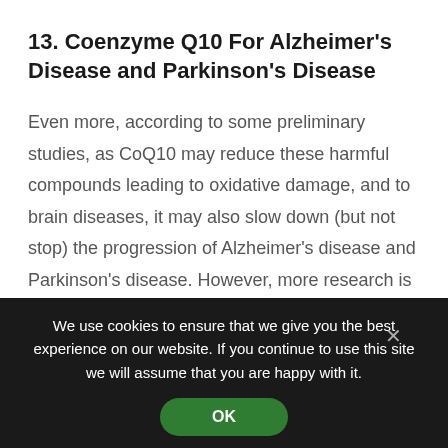13. Coenzyme Q10 For Alzheimer's Disease and Parkinson's Disease
Even more, according to some preliminary studies, as CoQ10 may reduce these harmful compounds leading to oxidative damage, and to brain diseases, it may also slow down (but not stop) the progression of Alzheimer's disease and Parkinson's disease. However, more research is needed to confirm this effect (1, 6, 18, 19, 20).
We use cookies to ensure that we give you the best experience on our website. If you continue to use this site we will assume that you are happy with it.